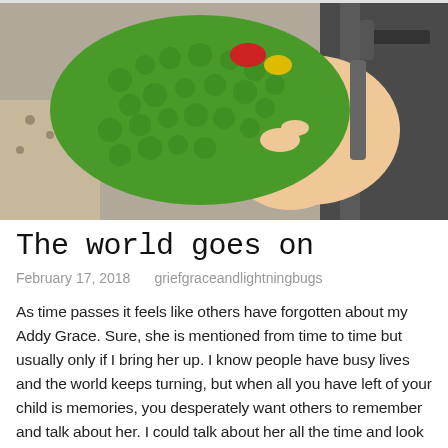[Figure (photo): A baby or toddler in a car seat holding a large green dinosaur toy. The toy appears bumpy/textured and bright green. The child's arm and torso are visible along with car seat straps.]
The world goes on
February 17, 2018   griefgraceandlightningbugs
As time passes it feels like others have forgotten about my Addy Grace. Sure, she is mentioned from time to time but usually only if I bring her up. I know people have busy lives and the world keeps turning, but when all you have left of your child is memories, you desperately want others to remember and talk about her. I could talk about her all the time and look at her pictures or watch videos of her nonstop, but